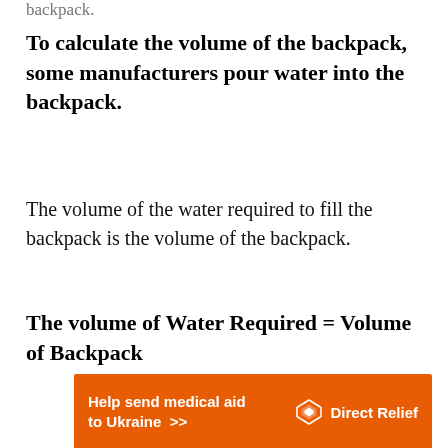backpack.
To calculate the volume of the backpack, some manufacturers pour water into the backpack.
The volume of the water required to fill the backpack is the volume of the backpack.
The volume of Water Required = Volume of Backpack
[Figure (other): Advertisement banner: orange background with white text 'Help send medical aid to Ukraine >>' and Direct Relief logo on the right.]